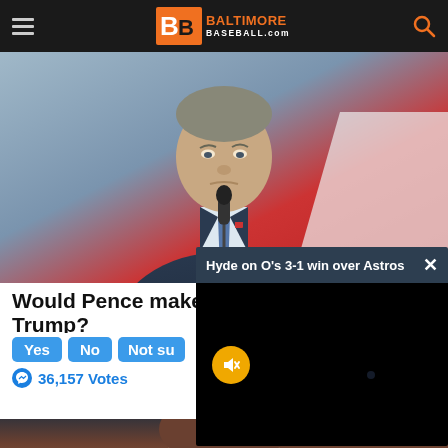Baltimore Baseball.com
[Figure (photo): Man in dark suit speaking at a microphone, partial red background]
Would Pence mak... Trump?
Yes  No  Not su...
36,157 Votes
[Figure (screenshot): Video popup overlay: 'Hyde on O's 3-1 win over Astros' with black video screen and mute button]
[Figure (photo): Woman with dark hair looking up, dark background]